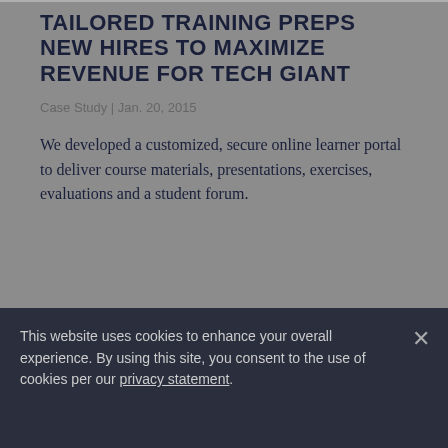TAILORED TRAINING PREPS NEW HIRES TO MAXIMIZE REVENUE FOR TECH GIANT
Case Study | Jan. 20, 2015
We developed a customized, secure online learner portal to deliver course materials, presentations, exercises, evaluations and a student forum.
WORLDWIDE TRAINING ENABLES CREDIT COMPANY'S CONVERSION TO CLOUD
This website uses cookies to enhance your overall experience. By using this site, you consent to the use of cookies per our privacy statement.